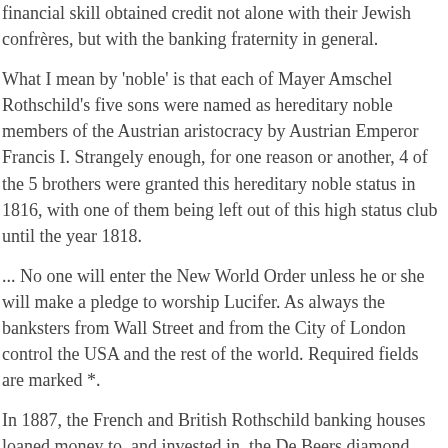financial skill obtained credit not alone with their Jewish confrères, but with the banking fraternity in general.
What I mean by 'noble' is that each of Mayer Amschel Rothschild's five sons were named as hereditary noble members of the Austrian aristocracy by Austrian Emperor Francis I. Strangely enough, for one reason or another, 4 of the 5 brothers were granted this hereditary noble status in 1816, with one of them being left out of this high status club until the year 1818.
... No one will enter the New World Order unless he or she will make a pledge to worship Lucifer. As always the banksters from Wall Street and from the City of London control the USA and the rest of the world. Required fields are marked *.
In 1887, the French and British Rothschild banking houses loaned money to, and invested in, the De Beers diamond mines in South Africa, becoming its largest shareholders.